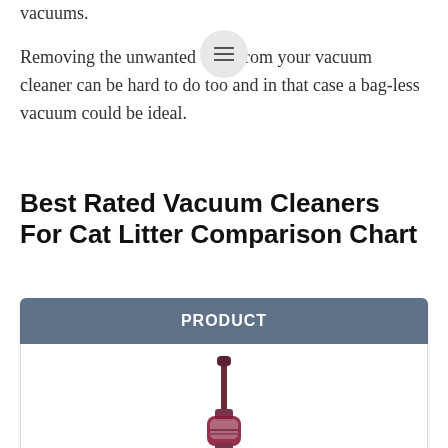vacuums.
Removing the unwanted odor from your vacuum cleaner can be hard to do too and in that case a bag-less vacuum could be ideal.
Best Rated Vacuum Cleaners For Cat Litter Comparison Chart
| PRODUCT |
| --- |
| [vacuum image] |
| OVERALL BEST |